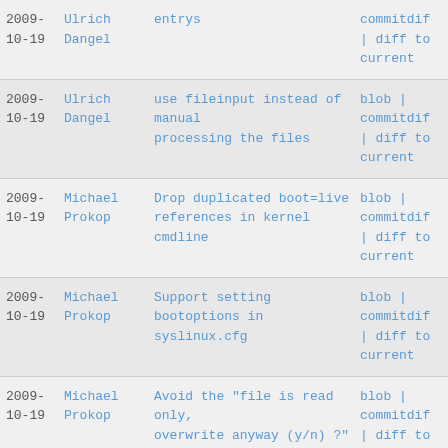| Date | Author | Message | Links |
| --- | --- | --- | --- |
| 2009-10-19 | Ulrich Dangel | entrys | commitdif | diff to current |
| 2009-10-19 | Ulrich Dangel | use fileinput instead of manual processing the files | blob | commitdif | diff to current |
| 2009-10-19 | Michael Prokop | Drop duplicated boot=live references in kernel cmdline | blob | commitdif | diff to current |
| 2009-10-19 | Michael Prokop | Support setting bootoptions in syslinux.cfg | blob | commitdif | diff to current |
| 2009-10-19 | Michael Prokop | Avoid the "file is read only, overwrite anyway (y/n) ?" | blob | commitdif | diff to current |
| 2009-10-19 | Michael Prokop | Inform user when using grub as bootloader | blob | commitdif | diff to |